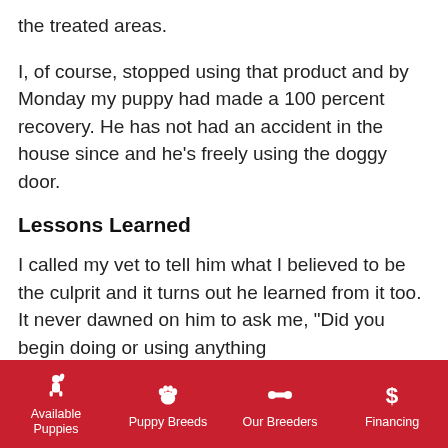the treated areas.
I, of course, stopped using that product and by Monday my puppy had made a 100 percent recovery. He has not had an accident in the house since and he's freely using the doggy door.
Lessons Learned
I called my vet to tell him what I believed to be the culprit and it turns out he learned from it too. It never dawned on him to ask me, "Did you begin doing or using anything
Available Puppies | Puppy Breeds | Our Breeders | Financing